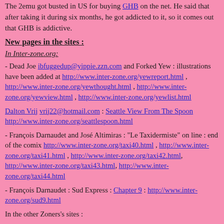The 2emu got busted in US for buying GHB on the net. He said that after taking it during six months, he got addicted to it, so it comes out that GHB is addictive.
New pages in the sites :
In Inter-zone.org:
- Dead Joe ibfuggedup@yippie.zzn.com and Forked Yew : illustrations have been added at http://www.inter-zone.org/yewreport.html , http://www.inter-zone.org/yewthought.html , http://www.inter-zone.org/yewview.html , http://www.inter-zone.org/yewlist.html
Dalton Vrij vrij22@hotmail.com : Seattle View From The Spoon http://www.inter-zone.org/seattlespoon.html
- François Darnaudet and José Altimiras : "Le Taxidermiste" on line : end of the comix http://www.inter-zone.org/taxi40.html , http://www.inter-zone.org/taxi41.html , http://www.inter-zone.org/taxi42.html, http://www.inter-zone.org/taxi43.html, http://www.inter-zone.org/taxi44.html
- François Darnaudet : Sud Express : Chapter 9 : http://www.inter-zone.org/sud9.html
In the other Zoners's sites :